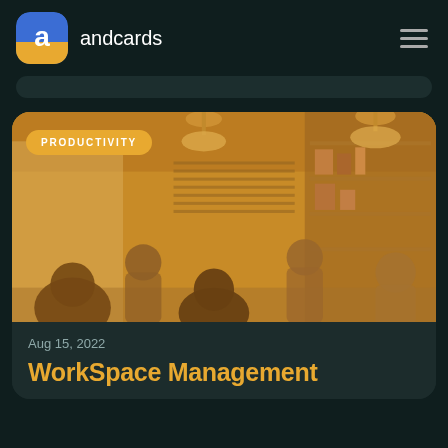andcards
[Figure (photo): Sepia-toned photo of people working/meeting in a coworking space with shelving and pendant lights]
PRODUCTIVITY
Aug 15, 2022
WorkSpace Management